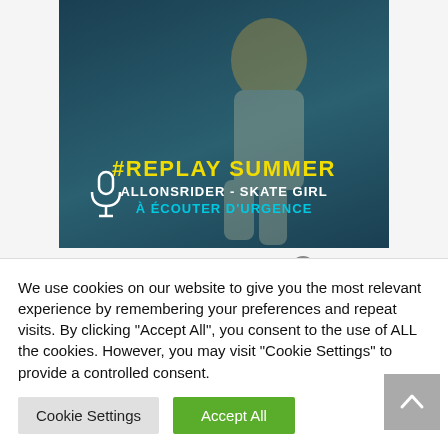[Figure (screenshot): Podcast card image with dark teal background showing a skater athlete, with text overlay '#REPLAY SUMMER', 'ALLONSRIDER - SKATE GIRL', 'À ÉCOUTER D'URGENCE' and a microphone icon]
Marketing & Influence - le podcast de...
#05 - REPLAY SUMM...
We use cookies on our website to give you the most relevant experience by remembering your preferences and repeat visits. By clicking "Accept All", you consent to the use of ALL the cookies. However, you may visit "Cookie Settings" to provide a controlled consent.